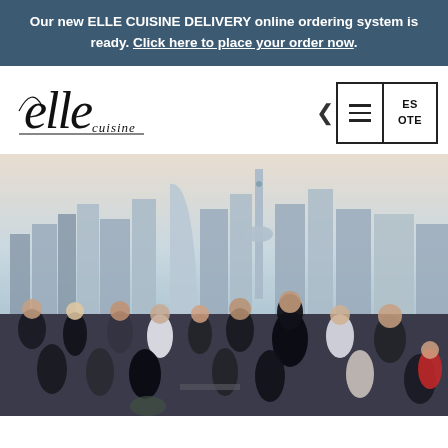Our new ELLE CUISINE DELIVERY online ordering system is ready. Click here to place your order now.
[Figure (logo): Elle Cuisine cursive logo in black]
[Figure (infographic): Navigation bar with hamburger menu icon and partial text showing ES and OTE]
[Figure (photo): Outdoor rooftop party with people socializing against a Toronto city skyline featuring the CN Tower at dusk]